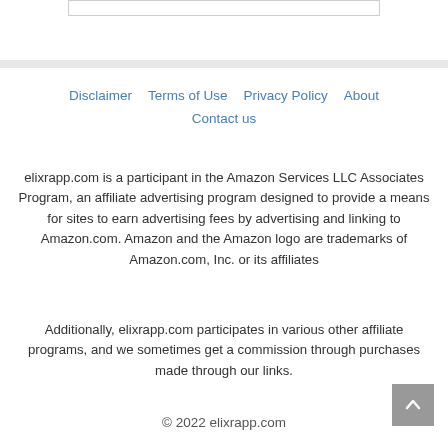Disclaimer | Terms of Use | Privacy Policy | About | Contact us
elixrapp.com is a participant in the Amazon Services LLC Associates Program, an affiliate advertising program designed to provide a means for sites to earn advertising fees by advertising and linking to Amazon.com. Amazon and the Amazon logo are trademarks of Amazon.com, Inc. or its affiliates
Additionally, elixrapp.com participates in various other affiliate programs, and we sometimes get a commission through purchases made through our links.
© 2022 elixrapp.com